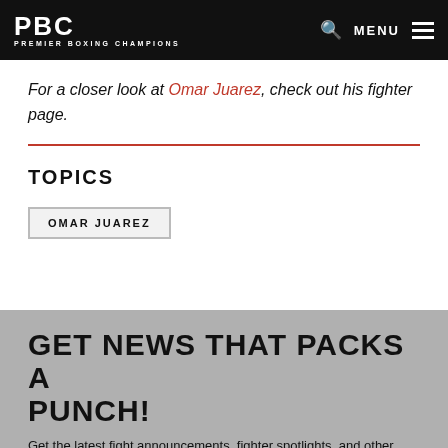PBC PREMIER BOXING CHAMPIONS
For a closer look at Omar Juarez, check out his fighter page.
TOPICS
OMAR JUAREZ
GET NEWS THAT PACKS A PUNCH!
Get the latest fight announcements, fighter spotlights, and other